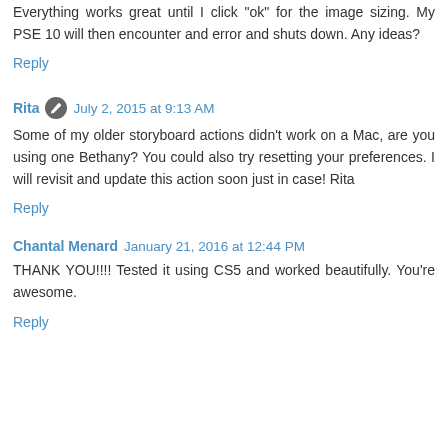Everything works great until I click "ok" for the image sizing. My PSE 10 will then encounter and error and shuts down. Any ideas?
Reply
Rita  July 2, 2015 at 9:13 AM
Some of my older storyboard actions didn't work on a Mac, are you using one Bethany? You could also try resetting your preferences. I will revisit and update this action soon just in case! Rita
Reply
Chantal Menard  January 21, 2016 at 12:44 PM
THANK YOU!!!! Tested it using CS5 and worked beautifully. You're awesome.
Reply